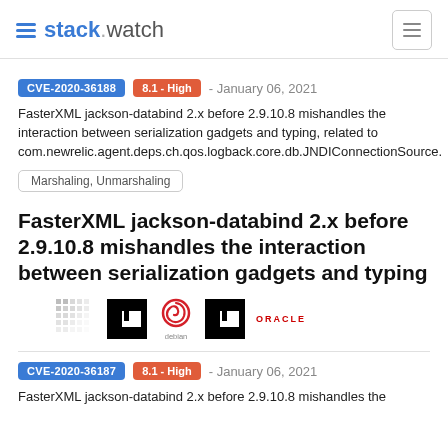stack.watch
CVE-2020-36188  8.1 - High  - January 06, 2021
FasterXML jackson-databind 2.x before 2.9.10.8 mishandles the interaction between serialization gadgets and typing, related to com.newrelic.agent.deps.ch.qos.logback.core.db.JNDIConnectionSource.
Marshaling, Unmarshaling
FasterXML jackson-databind 2.x before 2.9.10.8 mishandles the interaction between serialization gadgets and typing
[Figure (logo): Vendor logos row: matrix/grid icon, npm (black box), Debian swirl logo, npm (black box), Oracle text logo]
CVE-2020-36187  8.1 - High  - January 06, 2021
FasterXML jackson-databind 2.x before 2.9.10.8 mishandles the